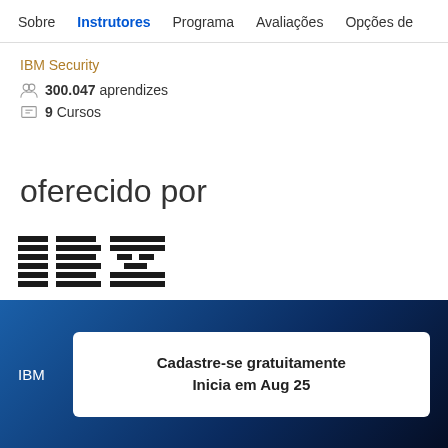Sobre  Instrutores  Programa  Avaliações  Opções de
IBM Security
300.047 aprendizes
9 Cursos
oferecido por
[Figure (logo): IBM striped logo in black and white]
IBM
Cadastre-se gratuitamente
Inicia em Aug 25